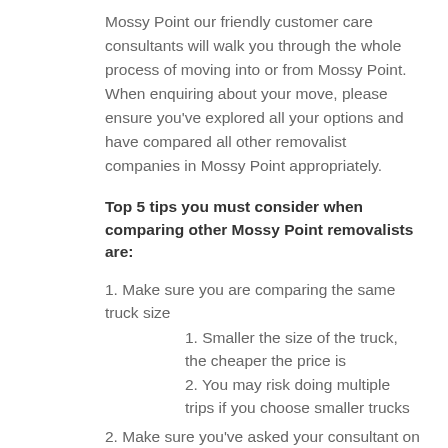Mossy Point our friendly customer care consultants will walk you through the whole process of moving into or from Mossy Point. When enquiring about your move, please ensure you've explored all your options and have compared all other removalist companies in Mossy Point appropriately.
Top 5 tips you must consider when comparing other Mossy Point removalists are:
1. Make sure you are comparing the same truck size
1. Smaller the size of the truck, the cheaper the price is
2. You may risk doing multiple trips if you choose smaller trucks
2. Make sure you've asked your consultant on